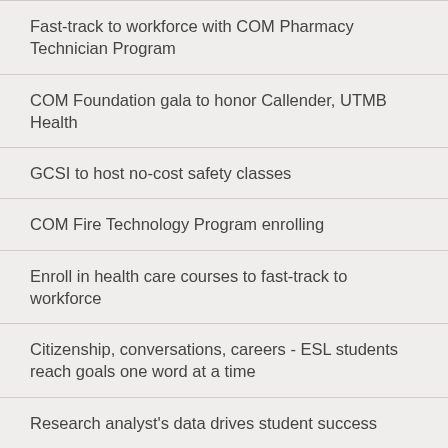Fast-track to workforce with COM Pharmacy Technician Program
COM Foundation gala to honor Callender, UTMB Health
GCSI to host no-cost safety classes
COM Fire Technology Program enrolling
Enroll in health care courses to fast-track to workforce
Citizenship, conversations, careers - ESL students reach goals one word at a time
Research analyst's data drives student success
Melted, mottled glass featured at COM art exhibit